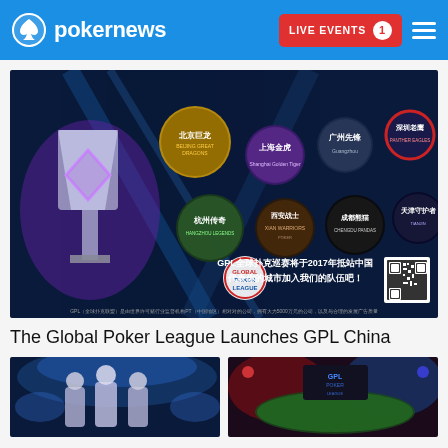pokernews — LIVE EVENTS 1
[Figure (photo): GPL China promotional image showing 8 Chinese city team logos (Beijing Great Dragons, Shanghai Golden Tigers, Guangzhou Pioneers, Shenzhen Panthers, Hangzhou Legends, Xi'an Warriors, Chengdu Pandas, Tianjin Guardians) with a crystal trophy and QR code, dark blue background with light streaks]
The Global Poker League Launches GPL China
[Figure (photo): Three players in futuristic silver suits on a stage with blue lighting]
[Figure (photo): GPL poker arena stage with red and blue lighting]